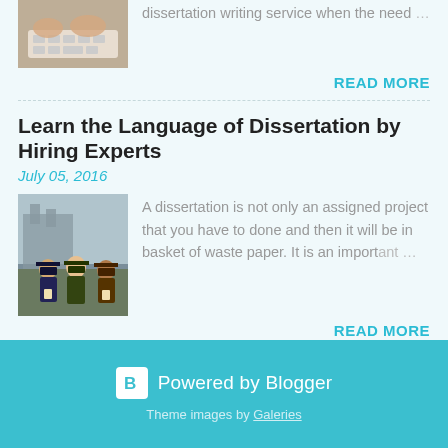[Figure (photo): Hands typing on laptop keyboard, top view]
dissertation writing service when the need …
READ MORE
Learn the Language of Dissertation by Hiring Experts
July 05, 2016
[Figure (photo): Group of graduates in caps and gowns smiling outdoors]
A dissertation is not only an assigned project that you have to done and then it will be in basket of waste paper. It is an important …
READ MORE
Powered by Blogger
Theme images by Galeries